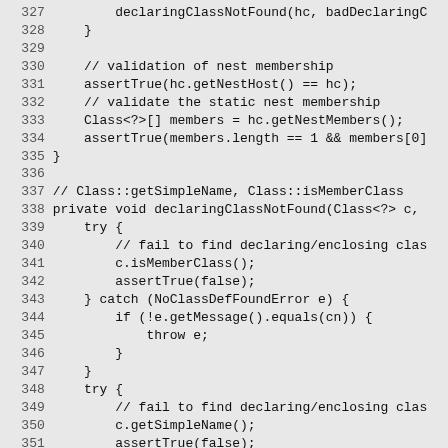Code listing lines 327-356, Java source code showing declaringClassNotFound, nest membership validation, and try/catch blocks.